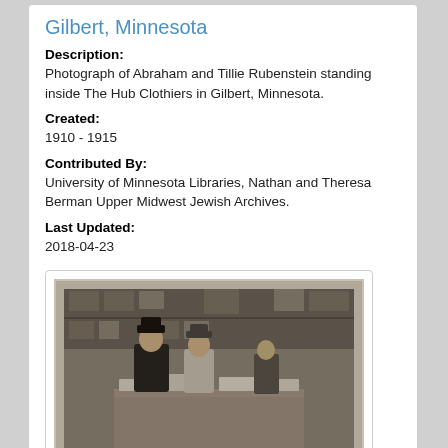Gilbert, Minnesota
Description:
Photograph of Abraham and Tillie Rubenstein standing inside The Hub Clothiers in Gilbert, Minnesota.
Created:
1910 - 1915
Contributed By:
University of Minnesota Libraries, Nathan and Theresa Berman Upper Midwest Jewish Archives.
Last Updated:
2018-04-23
[Figure (photo): Black and white photograph of Abraham and Tillie Rubenstein standing inside The Hub Clothiers in Gilbert, Minnesota, circa 1910-1915.]